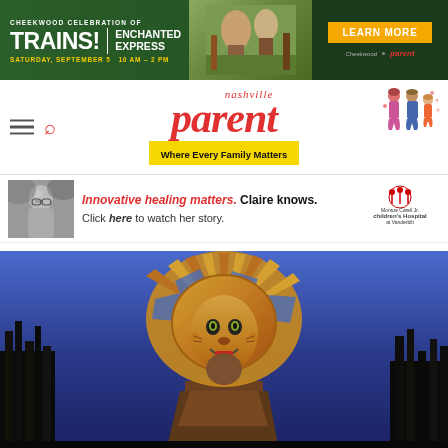[Figure (infographic): Cheekwood Celebration of Trains! Enchanted Express banner advertisement. Saturday, September 5, 10 AM - 2 PM. Learn More button. Cheekwood and parent logos.]
[Figure (logo): Nashville Parent logo with tagline 'Where Every Family Matters' on yellow background. Navigation hamburger menu and search icon visible. Illustrated family characters on right.]
[Figure (infographic): Monroe Carell Jr. Children's Hospital at Vanderbilt advertisement. Black and white photo of a girl named Claire with text: Innovative healing matters. Claire knows. Click here to watch her story.]
[Figure (photo): Lion King musical production photo. Performer wearing elaborate lion headdress/mask costume with yellow and brown colors on stage with blue/purple lighting. Dark grass props visible at bottom sides.]